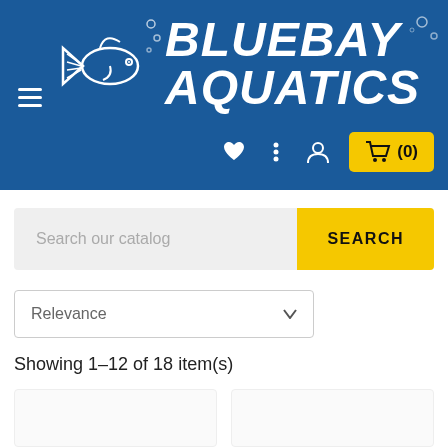[Figure (logo): BlueBay Aquatics logo with fish illustration and white bold italic text on blue background]
BlueBay Aquatics website header with hamburger menu, heart icon, more options, account icon, and cart button showing (0)
Search our catalog
SEARCH
Relevance
Showing 1–12 of 18 item(s)